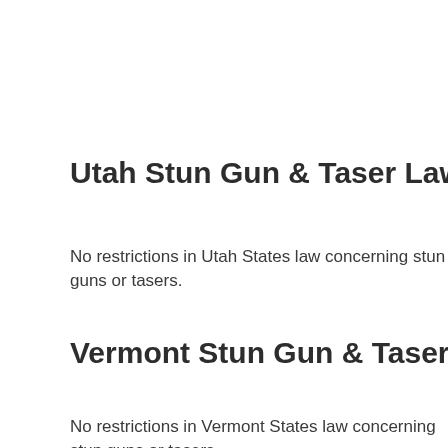Utah Stun Gun & Taser Laws / Statutes
No restrictions in Utah States law concerning stun guns or tasers.
Vermont Stun Gun & Taser Laws / Statutes
No restrictions in Vermont States law concerning stun guns or tasers.
Virginia Stun Gun & Taser Laws / Statutes